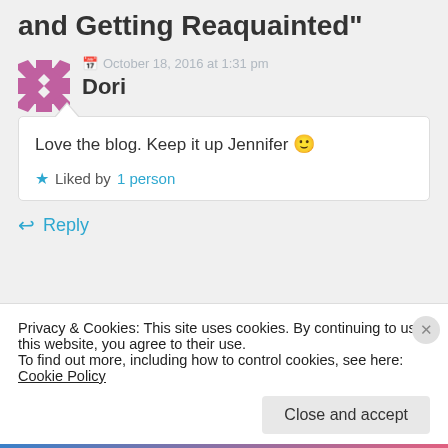and Getting Reaquainted"
October 18, 2016 at 1:31 pm
Dori
Love the blog. Keep it up Jennifer 🙂
Liked by 1 person
↩ Reply
Privacy & Cookies: This site uses cookies. By continuing to use this website, you agree to their use.
To find out more, including how to control cookies, see here: Cookie Policy
Close and accept